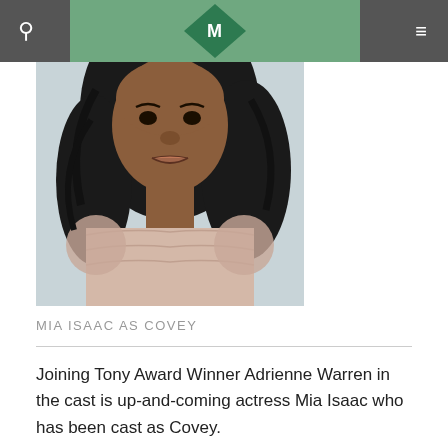Navigation bar with search icon, logo (M diamond), and menu icon
[Figure (photo): Headshot of actress Mia Isaac: young Black woman with long curly dark hair, wearing a beige/blush sheer ruffled top, against a light background]
MIA ISAAC AS COVEY
Joining Tony Award Winner Adrienne Warren in the cast is up-and-coming actress Mia Isaac who has been cast as Covey.